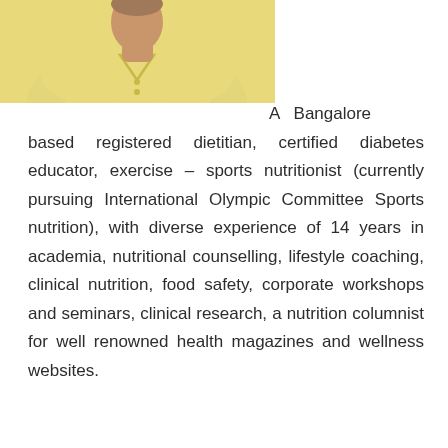[Figure (photo): Partial photo of a person wearing a yellow top, cropped to show shoulders and neck area against a yellow/cream background]
A Bangalore based registered dietitian, certified diabetes educator, exercise – sports nutritionist (currently pursuing International Olympic Committee Sports nutrition), with diverse experience of 14 years in academia, nutritional counselling, lifestyle coaching, clinical nutrition, food safety, corporate workshops and seminars, clinical research, a nutrition columnist for well renowned health magazines and wellness websites.